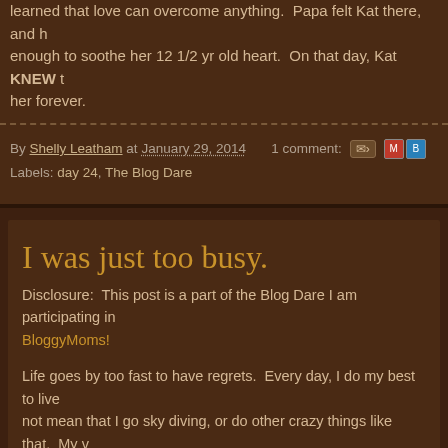learned that love can overcome anything. Papa felt Kat there, and enough to soothe her 12 1/2 yr old heart. On that day, Kat KNEW t her forever.
By Shelly Leatham at January 29, 2014   1 comment:
Labels: day 24, The Blog Dare
I was just too busy.
Disclosure: This post is a part of the Blog Dare I am participating in BloggyMoms!
Life goes by too fast to have regrets. Every day, I do my best to live not mean that I go sky diving, or do other crazy things like that. My fullest is by spending my time with my family. My time is spent in pe phone!
I call my mom several times each day to check in on her and on my not so great area of a city that is about 45 minutes from me. Since Mom has lived with Grandma. I freely admit that my mom is one